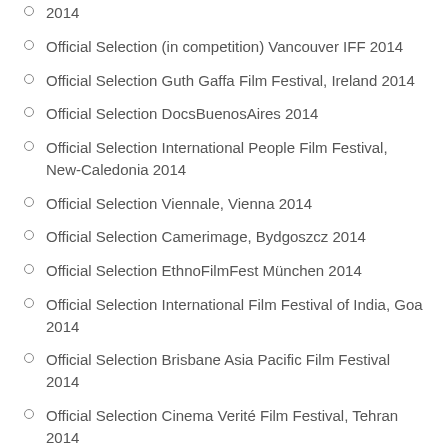2014
Official Selection (in competition) Vancouver IFF 2014
Official Selection Guth Gaffa Film Festival, Ireland 2014
Official Selection DocsBuenosAires 2014
Official Selection International People Film Festival, New-Caledonia 2014
Official Selection Viennale, Vienna 2014
Official Selection Camerimage, Bydgoszcz 2014
Official Selection EthnoFilmFest München 2014
Official Selection International Film Festival of India, Goa 2014
Official Selection Brisbane Asia Pacific Film Festival 2014
Official Selection Cinema Verité Film Festival, Tehran 2014
Official Selection Tbilisi Film Festival 2014